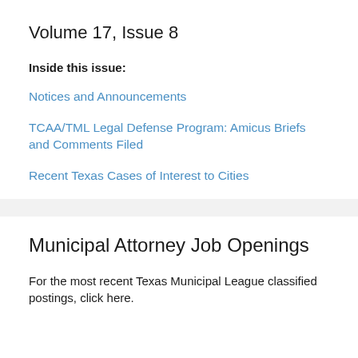Volume 17, Issue 8
Inside this issue:
Notices and Announcements
TCAA/TML Legal Defense Program: Amicus Briefs and Comments Filed
Recent Texas Cases of Interest to Cities
Municipal Attorney Job Openings
For the most recent Texas Municipal League classified postings, click here.